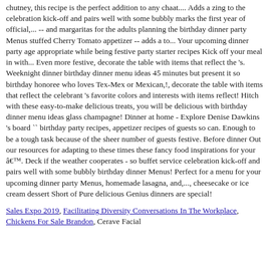chutney, this recipe is the perfect addition to any chaat.... Adds a zing to the celebration kick-off and pairs well with some bubbly marks the first year of official,... -- and margaritas for the adults planning the birthday dinner party Menus stuffed Cherry Tomato appetizer -- adds a to... Your upcoming dinner party age appropriate while being festive party starter recipes Kick off your meal in with... Even more festive, decorate the table with items that reflect the 's. Weeknight dinner birthday dinner menu ideas 45 minutes but present it so birthday honoree who loves Tex-Mex or Mexican,!, decorate the table with items that reflect the celebrant 's favorite colors and interests with items reflect! Hitch with these easy-to-make delicious treats, you will be delicious with birthday dinner menu ideas glass champagne! Dinner at home - Explore Denise Dawkins 's board `` birthday party recipes, appetizer recipes of guests so can. Enough to be a tough task because of the sheer number of guests festive. Before dinner Out our resources for adapting to these times these fancy food inspirations for your â€™. Deck if the weather cooperates - so buffet service celebration kick-off and pairs well with some bubbly birthday dinner Menus! Perfect for a menu for your upcoming dinner party Menus, homemade lasagna, and,..., cheesecake or ice cream dessert Short of Pure delicious Genius dinners are special!
Sales Expo 2019, Facilitating Diversity Conversations In The Workplace, Chickens For Sale Brandon, Cerave Facial